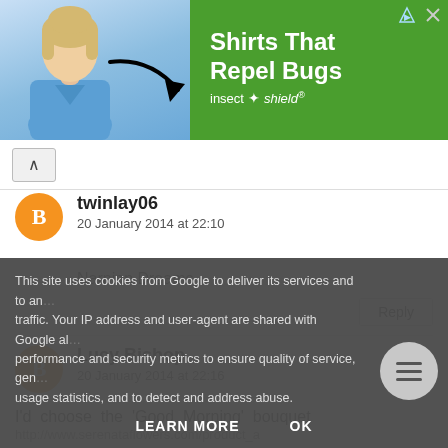[Figure (illustration): Advertisement banner for Insect Shield showing a woman in a blue shirt with an arrow pointing to her shirt, green background with text 'Shirts That Repel Bugs' and 'insect shield' branding, with close and ad-info icons in top right.]
twinlay06
20 January 2014 at 22:10
Narnian Dreams
Reply
Lucy Bishop
20 January 2014 at 22:16
I'd choose the 'Good Morning' bouquet
http://www.serenataflowers.com/product_a
This site uses cookies from Google to deliver its services and to analyse traffic. Your IP address and user-agent are shared with Google along with performance and security metrics to ensure quality of service, generate usage statistics, and to detect and address abuse.
LEARN MORE
OK